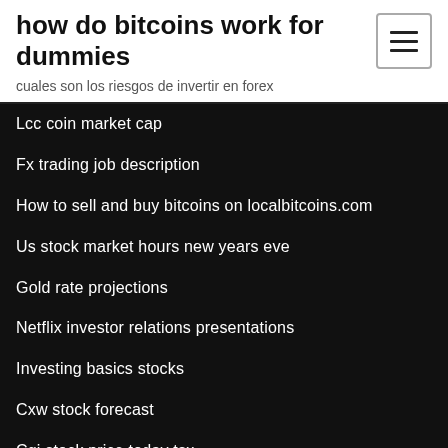how do bitcoins work for dummies
cuales son los riesgos de invertir en forex
Lcc coin market cap
Fx trading job description
How to sell and buy bitcoins on localbitcoins.com
Us stock market hours new years eve
Gold rate projections
Netflix investor relations presentations
Investing basics stocks
Cxw stock forecast
Cgi stock price today tsx
How to day trade futures